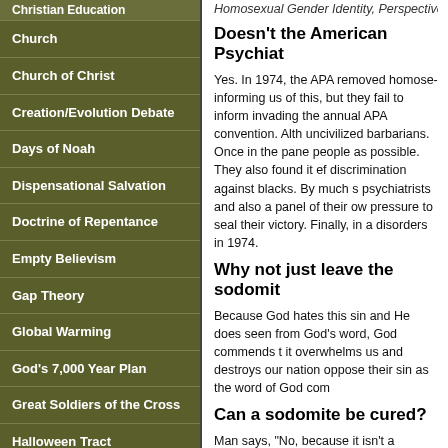Christian Education
Church
Church of Christ
Creation/Evolution Debate
Days of Noah
Dispensational Salvation
Doctrine of Repentance
Empty Believism
Gap Theory
Global Warming
God's 7,000 Year Plan
Great Soldiers of the Cross
Halloween Tract
Handbook of Heresies
Homosexual Gender Identity, Perspective
Doesn't the American Psychiat
Yes.  In 1974, the APA removed homosex informing us of this, but they fail to inform invading the annual APA convention.  Alth uncivilized barbarians.  Once in the pane people as possible.  They also found it e discrimination against blacks.  By much s psychiatrists and also a panel of their ow pressure to seal their victory.  Finally, in disorders in 1974.
Why not just leave the sodomit
Because God hates this sin and He does seen from God's word, God commends t it overwhelms us and destroys our natio oppose their sin as the word of God com
Can a sodomite be cured?
Man says, "No, because it isn't a disease cleanse any person of this sin and forget Bible says otherwise!